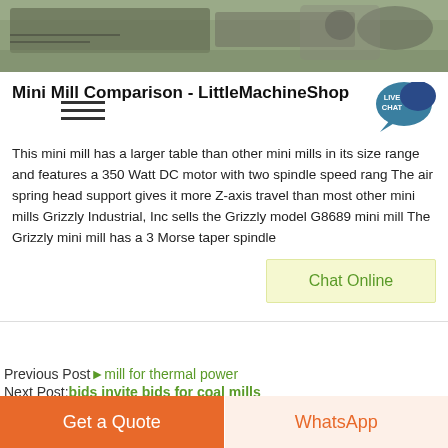[Figure (photo): Industrial machinery/mill equipment photograph, muted green-grey tones]
Mini Mill Comparison - LittleMachineShop
[Figure (other): Live Chat badge icon — teal chat bubble with LIVE CHAT text]
This mini mill has a larger table than other mini mills in its size range and features a 350 Watt DC motor with two spindle speed rang The air spring head support gives it more Z-axis travel than most other mini mills Grizzly Industrial, Inc sells the Grizzly model G8689 mini mill The Grizzly mini mill has a 3 Morse taper spindle
Chat Online
Previous Post►mill for thermal power
Next Post:bids invite bids for coal mills
Related Posts